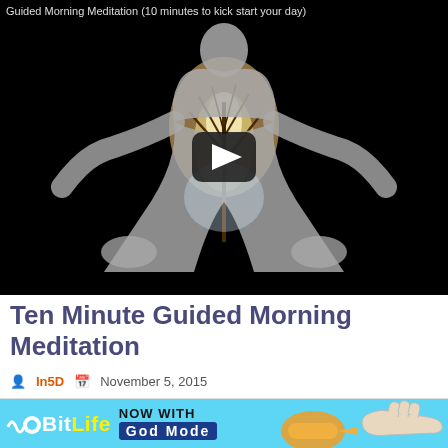[Figure (screenshot): YouTube-style video thumbnail showing a meditating figure silhouette filled with a nature/tree scene on a black background, with a play button overlay. Top bar reads: 'Guided Morning Meditation (10 minutes to kick start your day)']
Ten Minute Guided Morning Meditation
In5D  November 5, 2015
[Figure (screenshot): BitLife advertisement banner: light blue background, BitLife logo, text 'NOW WITH GOD MODE', pointing hand graphic, close/question buttons]